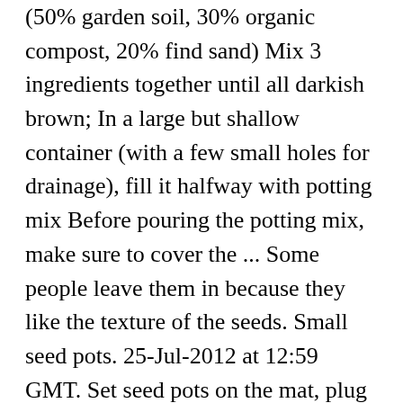(50% garden soil, 30% organic compost, 20% find sand) Mix 3 ingredients together until all darkish brown; In a large but shallow container (with a few small holes for drainage), fill it halfway with potting mix Before pouring the potting mix, make sure to cover the ... Some people leave them in because they like the texture of the seeds. Small seed pots. 25-Jul-2012 at 12:59 GMT. Set seed pots on the mat, plug it in, and the mat gently warms soil. Recorded the 01-Dec-2020 | Webinar. Seeds germinate fastest in warm soil. That stuff is just liquid. Watermelon seed oil is most valued for high amounts of oleic and linoleic fatty acids, as well as other acids in amounts comparable to the composition of pumpkin seed oil. By